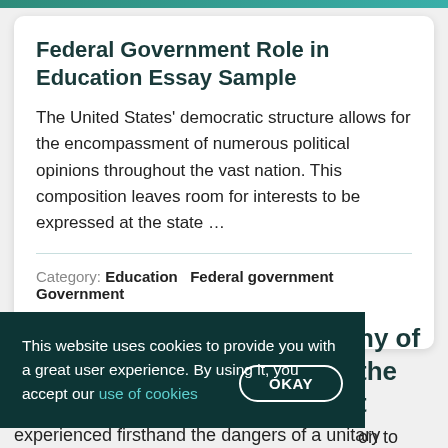Federal Government Role in Education Essay Sample
The United States' democratic structure allows for the encompassment of numerous political opinions throughout the vast nation. This composition leaves room for interests to be expressed at the state …
Category: Education  Federal government  Government
Words: 752    Pages: 3
ny of the t
on to avoid
experienced firsthand the dangers of a unitary
This website uses cookies to provide you with a great user experience. By using it, you accept our use of cookies